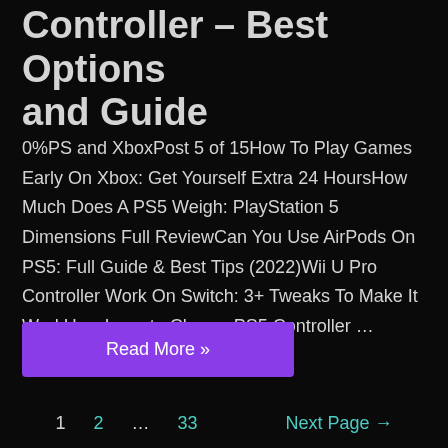Controller – Best Options and Guide
0%PS and XboxPost 5 of 15How To Play Games Early On Xbox: Get Yourself Extra 24 HoursHow Much Does A PS5 Weigh: PlayStation 5 Dimensions Full ReviewCan You Use AirPods On PS5: Full Guide & Best Tips (2022)Wii U Pro Controller Work On Switch: 3+ Tweaks To Make It WorkHow Long to Charge PS5 Controller …
Read More »
1   2   …   33   Next Page →